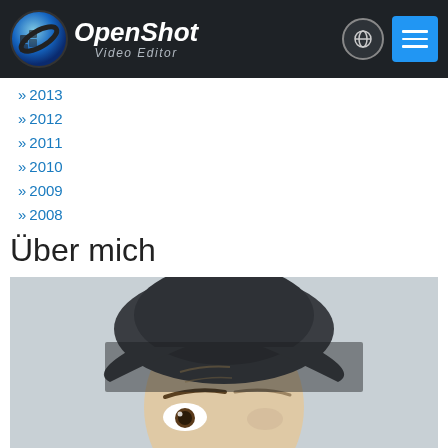OpenShot Video Editor
» 2013
» 2012
» 2011
» 2010
» 2009
» 2008
Über mich
[Figure (photo): Close-up photo of a person wearing a dark baseball cap, showing their forehead and one eye, against a light grey background.]